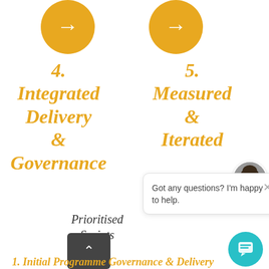[Figure (infographic): Two gold/orange circles with right-arrow icons at top, representing step 4 and step 5 of a process]
4. Integrated Delivery & Governance
5. Measured & Iterated
Prioritised Sprints
[Figure (screenshot): Chat popup widget showing avatar photo of a woman and text: Got any questions? I'm happy to help.]
[Figure (other): Scroll to top button (dark grey rectangle with up arrow)]
1. Initial Programme Governance & Delivery